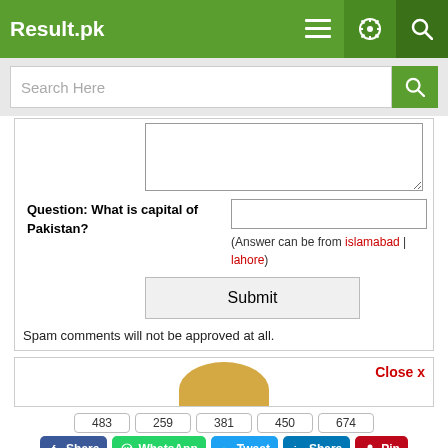Result.pk
[Figure (screenshot): Search bar with 'Search Here' placeholder and green search button]
[Figure (screenshot): Comment form textarea]
Question: What is capital of Pakistan? (Answer can be from islamabad | lahore)
Submit
Spam comments will not be approved at all.
[Figure (screenshot): Advertisement area with avatar and Close x button]
483 | 259 | 381 | 450 | 674 — Share, WhatsApp, Tweet, Share, Pin social buttons
12 Recommend | Subscribe YouTube
Admissions | News | Scholarships | Schools | Colleges | Merit Calculator | Ranking